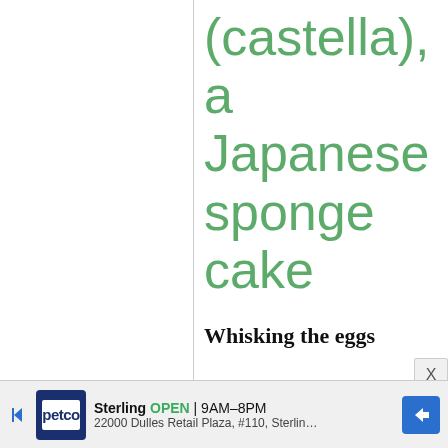(castella), a Japanese sponge cake
Whisking the eggs and sugar over a bain marie, or hot water bath, is a fundamental method in classic cake making. It
[Figure (other): Advertisement banner for Petco store: Sterling OPEN 9AM-8PM, 22000 Dulles Retail Plaza, #110, Sterling]